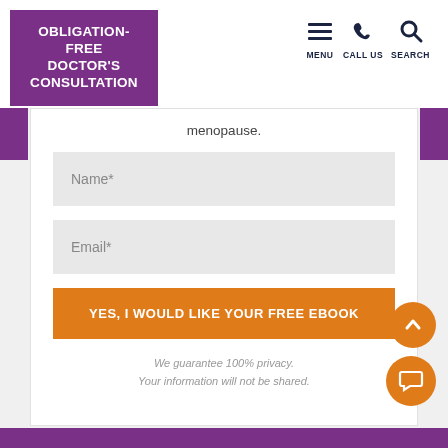OBLIGATION-FREE DOCTOR'S CONSULTATION
MENU  CALL US  SEARCH
menopause.
Name*
Email*
YES, I WOULD LIKE YOUR FREE EBOOK
We guarantee 100% privacy.
Your information will not be shared.